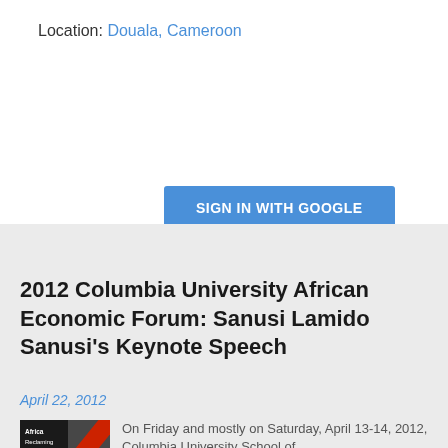Location: Douala, Cameroon
[Figure (screenshot): Blue 'SIGN IN WITH GOOGLE' button]
2012 Columbia University African Economic Forum: Sanusi Lamido Sanusi's Keynote Speech
April 22, 2012
[Figure (photo): Thumbnail image showing 'Africa Reclaming Africa' text on dark background with red diagonal stripe]
On Friday and mostly on Saturday, April 13-14, 2012, Columbia University School of...